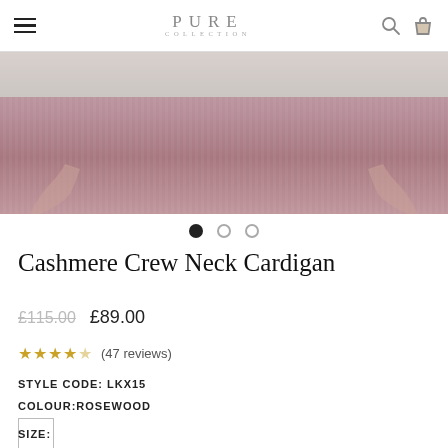PURE COLLECTION
[Figure (photo): Cropped photo of a person wearing a pink/rosewood cashmere crew neck cardigan, showing torso and hands holding the hem of the garment against a neutral background.]
● ○ ○ (carousel dots)
Cashmere Crew Neck Cardigan
£115.00  £89.00
★★★★★ (47 reviews)
STYLE CODE: LKX15
COLOUR:ROSEWOOD
[Figure (other): White colour swatch square with grey border]
SIZE: